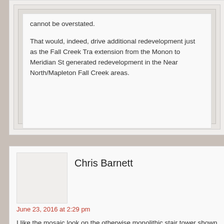cannot be overstated.

That would, indeed, drive additional redevelopment just as the Fall Creek Tra extension from the Monon to Meridian St generated redevelopment in the Near North/Mapleton Fall Creek areas.
Chris Barnett
June 23, 2016 at 2:29 pm
I like the mosaic look on the otherwise monolithic stair tower shown in
I also agree that a few feet of landscape buffer, enough for some real at the site plan, they can't scoot it south 10 feet…they have to give up a deal with the city to bump out curbs and create street tree plantings